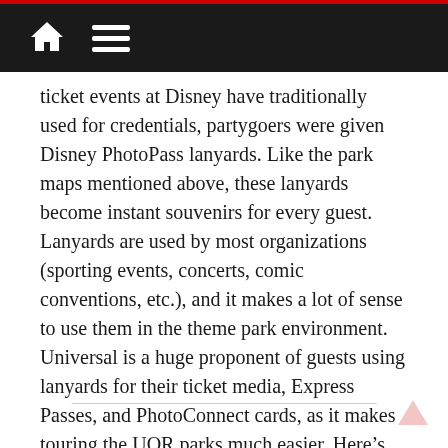Navigation bar with home and menu icons
ticket events at Disney have traditionally used for credentials, partygoers were given Disney PhotoPass lanyards. Like the park maps mentioned above, these lanyards become instant souvenirs for every guest. Lanyards are used by most organizations (sporting events, concerts, comic conventions, etc.), and it makes a lot of sense to use them in the theme park environment. Universal is a huge proponent of guests using lanyards for their ticket media, Express Passes, and PhotoConnect cards, as it makes touring the UOR parks much easier. Here’s hoping lanyards become standard for Disney parties.